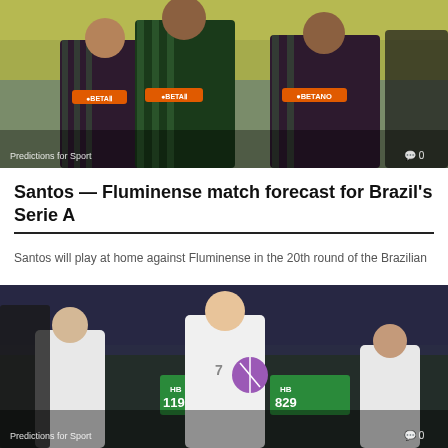[Figure (photo): Three Fluminense football players in green and dark striped jerseys with Betano sponsor logos, celebrating on the pitch with stadium seats in background. Overlay text: 'Predictions for Sport' bottom left, speech bubble icon and '0' bottom right.]
Santos — Fluminense match forecast for Brazil's Serie A
Santos will play at home against Fluminense in the 20th round of the Brazilian
[Figure (photo): Female football players in white jerseys on pitch after a match, one player holding a ball with number 7, crowd and camera crew in background, scoreboard showing HB 1194 and HB 829 and 16. Overlay text: 'Predictions for Sport' bottom left, speech bubble icon and '0' bottom right.]